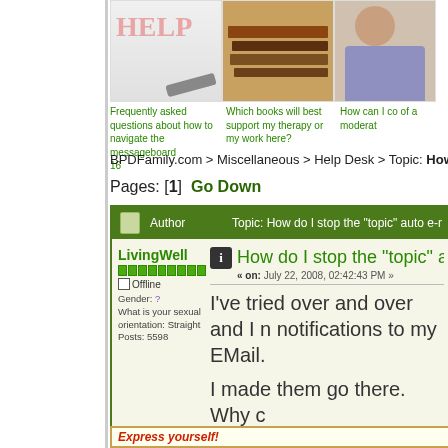[Figure (screenshot): Top navigation images: Help image, stack of books, person. Links below images for FAQ, books, and moderator info.]
Frequently asked questions about how to navigate the messageboard 16
Which books will best support my therapy or my work here?
How can I co of a moderat
BPDFamily.com > Miscellaneous > Help Desk > Topic: How do I st
Pages: [1]   Go Down
| Author | Topic: How do I stop the "topic" auto e-m |
| --- | --- |
| LivingWell
Offline
Gender: ?
What is your sexual orientation: Straight
Posts: 5598 | How do I stop the "topic" a
« on: July 22, 2008, 02:42:43 PM »
I've tried over and over and I n notifications to my EMail.

I made them go there.  Why c |
Express yourself!